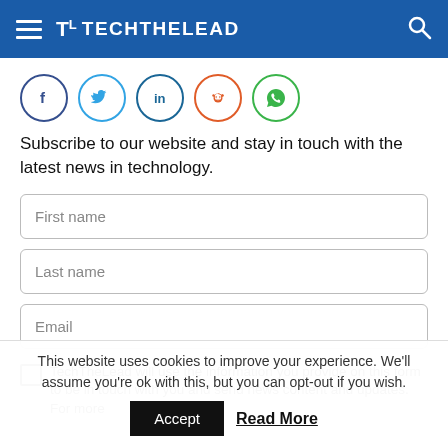TechTheLead
[Figure (logo): Social sharing icons: Facebook (dark blue circle), Twitter (light blue circle), LinkedIn (dark teal circle), Reddit (orange circle), WhatsApp (green circle)]
Subscribe to our website and stay in touch with the latest news in technology.
First name
Last name
Email
TechTheLead will use the information you provide on this form to be in touch with you and send news content and updates. For more
This website uses cookies to improve your experience. We'll assume you're ok with this, but you can opt-out if you wish.
Accept   Read More